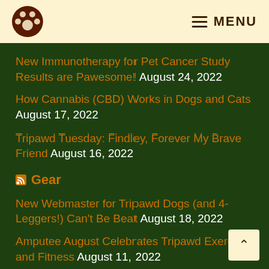MENU
New Immunotherapy for Pet Cancer Study Results are Pawesome! August 24, 2022
How Cannabis (CBD) Works in Dogs and Cats August 17, 2022
Tripawd Tuesday: Findley, Forever My Brave Friend August 16, 2022
Gear
New Webmaster for Tripawd Dogs (and 4-Leggers!) Can't Be Beat August 18, 2022
Amputee August Celebrates Tripawd Exercise and Fitness August 11, 2022